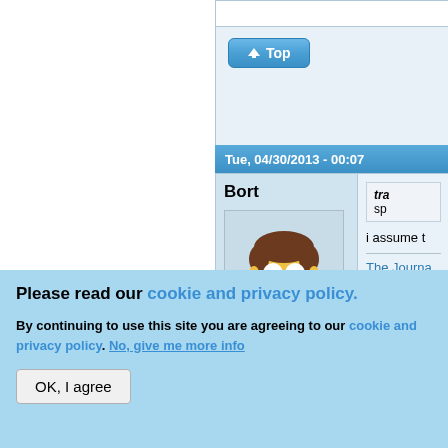[Figure (screenshot): Forum page screenshot showing a Top button, date header 'Tue, 04/30/2013 - 00:07', user 'Bort' with Simpsons avatar, offline status, last seen 7 hours 32 min ago, joined 06/01/2012, and partial post content.]
Bort
Offline
Last seen: 7 hours 32 min ago
Joined: 06/01/2012
i assume t
The Journa
Please read our cookie and privacy policy.
By continuing to use this site you are agreeing to our cookie and privacy policy. No, give me more info
OK, I agree